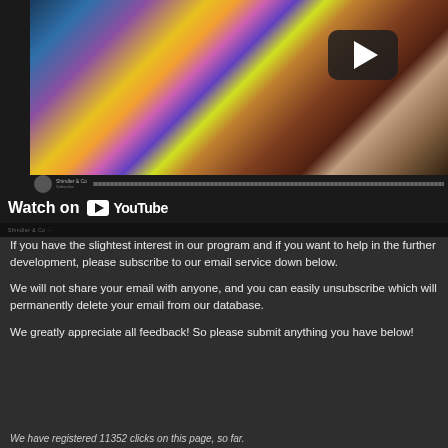[Figure (screenshot): YouTube video embed showing a colorful/glitchy beach scene thumbnail with a play button, progress bar, channel info bar, and 'Watch on YouTube' bar below]
If you have the slightest interest in our program and if you want to help in the further development, please subscribe to our email service down below.
We will not share your email with anyone, and you can easily unsubscribe which will permanently delete your email from our database.
We greatly appreciate all feedback! So please submit anything you have below!
We have registered 11352 clicks on this page, so far.